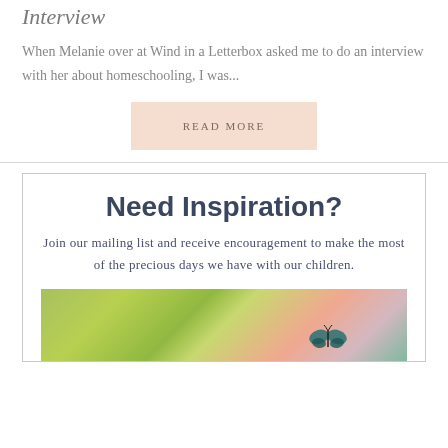Interview
When Melanie over at Wind in a Letterbox asked me to do an interview with her about homeschooling, I was...
READ MORE
Need Inspiration?
Join our mailing list and receive encouragement to make the most of the precious days we have with our children.
[Figure (photo): A blurred green bokeh background with pink flowers and a butterfly, likely a decorative newsletter image.]